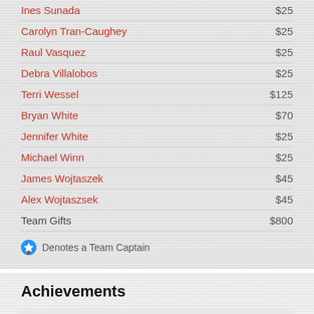Ines Sunada — $25
Carolyn Tran-Caughey — $25
Raul Vasquez — $25
Debra Villalobos — $25
Terri Wessel — $125
Bryan White — $70
Jennifer White — $25
Michael Winn — $25
James Wojtaszek — $45
Alex Wojtaszsek — $45
Team Gifts — $800
Denotes a Team Captain
Achievements
Our Team has raised $2000
Our Team has Raised $2,000 for Kids and...